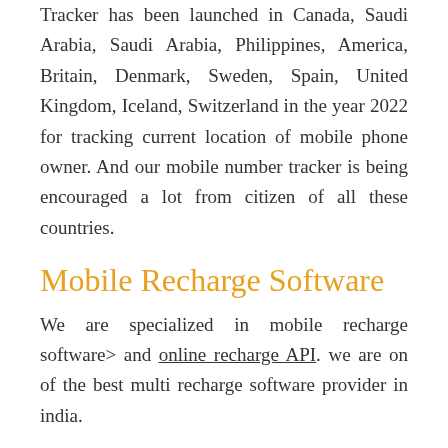Tracker has been launched in Canada, Saudi Arabia, Saudi Arabia, Philippines, America, Britain, Denmark, Sweden, Spain, United Kingdom, Iceland, Switzerland in the year 2022 for tracking current location of mobile phone owner. And our mobile number tracker is being encouraged a lot from citizen of all these countries.
Mobile Recharge Software
We are specialized in mobile recharge software> and online recharge API. we are on of the best multi recharge software provider in india.
We are having solid customer portfolio in more than 12 states of India for giving Mobile recharge software at low cost. Our across the